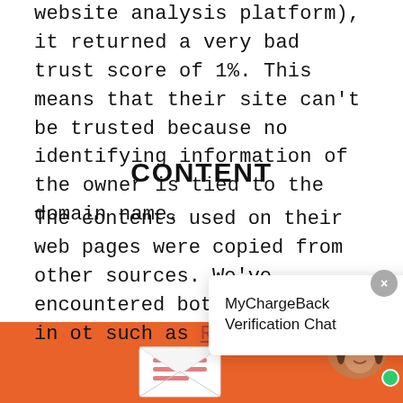website analysis platform), it returned a very bad trust score of 1%. This means that their site can't be trusted because no identifying information of the owner is tied to the domain name.
CONTENT
The contents used on their web pages were copied from other sources. We've encountered both and content in ot such as Reaseyo,
[Figure (other): MyChargeBack Verification Chat popup overlay with close button]
[Figure (illustration): Orange footer section with envelope illustration and avatar of a woman with green online indicator dot]